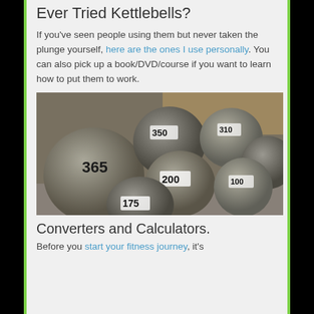Ever Tried Kettlebells?
If you've seen people using them but never taken the plunge yourself, here are the ones I use personally. You can also pick up a book/DVD/course if you want to learn how to put them to work.
[Figure (photo): A collection of large round kettlebells or atlas stones with numbers written on them including 365, 175, 200, 350]
Converters and Calculators.
Before you start your fitness journey, it's